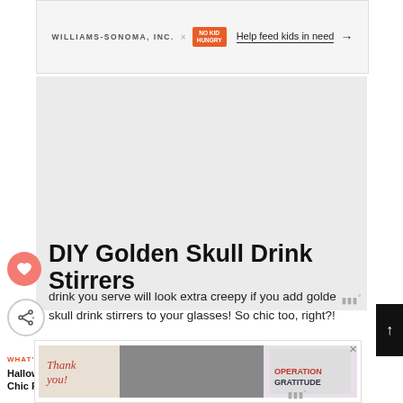[Figure (screenshot): Williams-Sonoma Inc. x No Kid Hungry banner ad with text 'Help feed kids in need' and arrow]
[Figure (screenshot): Large gray advertisement area with Moat logo watermark]
DIY Golden Skull Drink Stirrers
drink you serve will look extra creepy if you add golden skull drink stirrers to your glasses! So chic too, right?!
The DIY tutorial is coming to the blog soon.
[Figure (screenshot): Bottom advertisement - Thank You Operation Gratitude banner with healthcare workers]